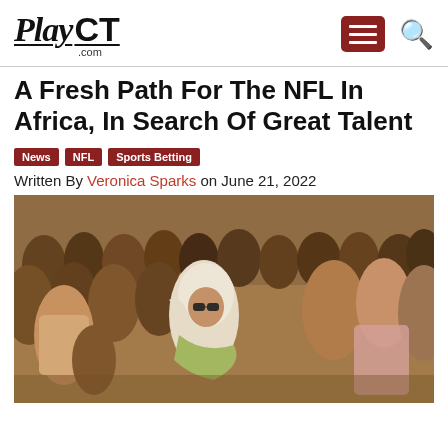PlayCT.com
A Fresh Path For The NFL In Africa, In Search Of Great Talent
News
NFL
Sports Betting
Written By Veronica Sparks on June 21, 2022
[Figure (photo): A large crowd of African people celebrating outdoors, with a woman in a white hijab and green shawl prominently in the foreground smiling and gesturing, surrounded by many people clapping and cheering.]